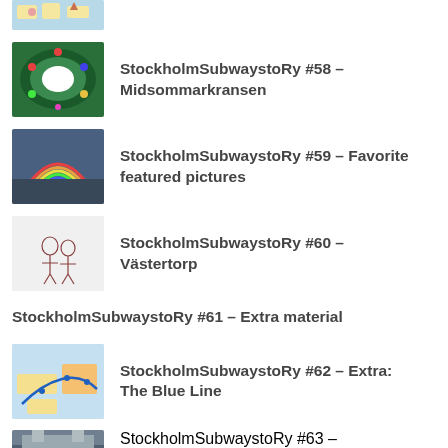[Figure (photo): Partial view of a map/illustration thumbnail at top of page, cropped]
StockholmSubwaystoRy #58 – Midsommarkransen
StockholmSubwaystoRy #59 – Favorite featured pictures
StockholmSubwaystoRy #60 – Västertorp
StockholmSubwaystoRy #61 – Extra material
StockholmSubwaystoRy #62 – Extra: The Blue Line
StockholmSubwaystoRy #63 – Liljeholmen